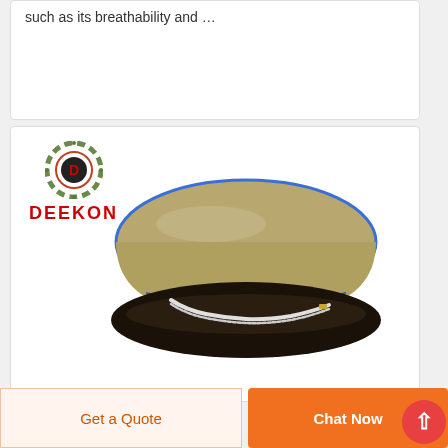such as its breathability and …
[Figure (logo): DEEKON brand logo with circular camouflage-pattern emblem and red bold DEEKON text below]
[Figure (photo): Military/police officer peaked cap with tan/khaki top, blue band, white cord, and dark brim, displayed on white background. DEEKON brand product.]
Get a Quote
Chat Now